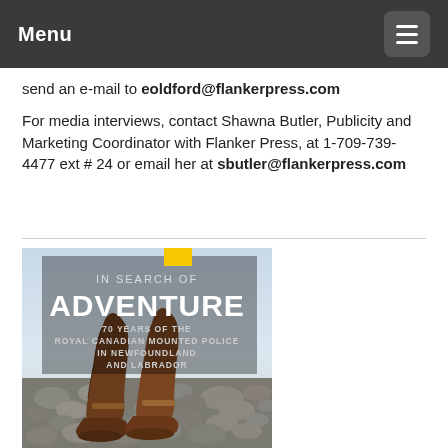Menu
send an e-mail to eoldford@flankerpress.com
For media interviews, contact Shawna Butler, Publicity and Marketing Coordinator with Flanker Press, at 1-709-739-4477 ext # 24 or email her at sbutler@flankerpress.com
[Figure (photo): Book cover of 'In Search of Adventure: 70 Years of the Royal Canadian Mounted Police in Newfoundland and Labrador' showing brown leather boots on a rocky beach with old photographs scattered below]